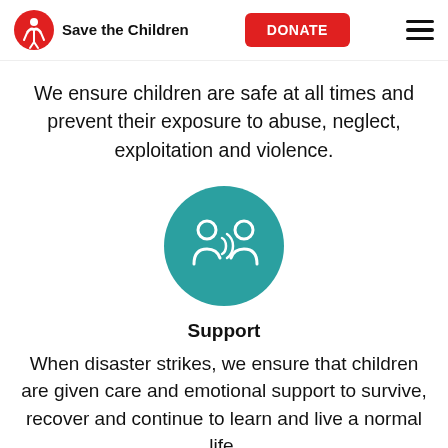Save the Children | DONATE
We ensure children are safe at all times and prevent their exposure to abuse, neglect, exploitation and violence.
[Figure (illustration): Teal circle icon with two white human figures and a speech/sound symbol between them, representing support.]
Support
When disaster strikes, we ensure that children are given care and emotional support to survive, recover and continue to learn and live a normal life.